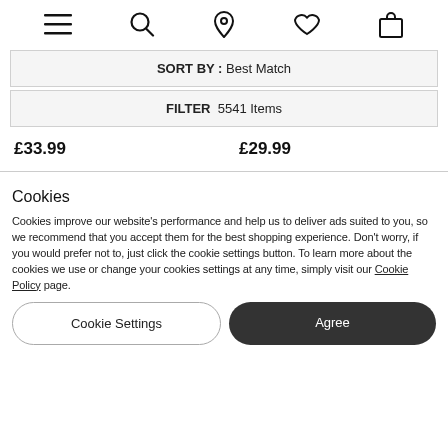[Figure (screenshot): Navigation bar with hamburger menu, search, location pin, heart/wishlist, and shopping bag icons]
SORT BY: Best Match
FILTER 5541 Items
£33.99    £29.99
Cookies
Cookies improve our website's performance and help us to deliver ads suited to you, so we recommend that you accept them for the best shopping experience. Don't worry, if you would prefer not to, just click the cookie settings button. To learn more about the cookies we use or change your cookies settings at any time, simply visit our Cookie Policy page.
Cookie Settings
Agree